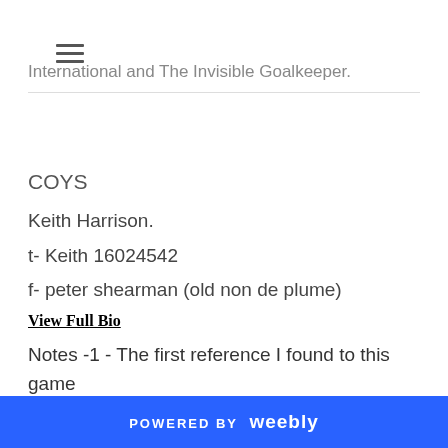≡
International and The Invisible Goalkeeper.
COYS
Keith Harrison.
t- Keith 16024542
f- peter shearman (old non de plume)
View Full Bio
Notes -1 - The first reference I found to this game suggested it was played at the training ground but I
POWERED BY weebly